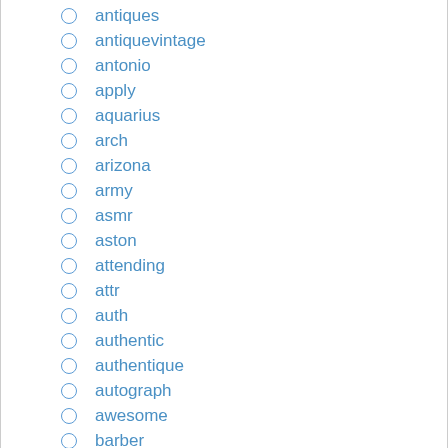antiqued
antiques
antiquevintage
antonio
apply
aquarius
arch
arizona
army
asmr
aston
attending
attr
auth
authentic
authentique
autograph
awesome
barber